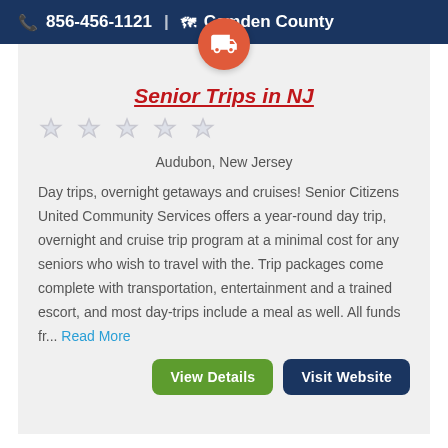856-456-1121 | Camden County
Senior Trips in NJ
Audubon, New Jersey
Day trips, overnight getaways and cruises! Senior Citizens United Community Services offers a year-round day trip, overnight and cruise trip program at a minimal cost for any seniors who wish to travel with the. Trip packages come complete with transportation, entertainment and a trained escort, and most day-trips include a meal as well. All funds fr... Read More